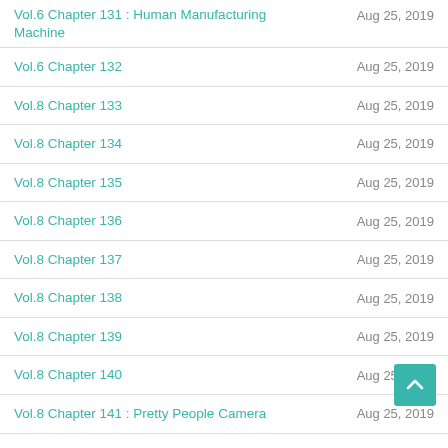Vol.6 Chapter 131 : Human Manufacturing Machine | Aug 25, 2019
Vol.6 Chapter 132 | Aug 25, 2019
Vol.8 Chapter 133 | Aug 25, 2019
Vol.8 Chapter 134 | Aug 25, 2019
Vol.8 Chapter 135 | Aug 25, 2019
Vol.8 Chapter 136 | Aug 25, 2019
Vol.8 Chapter 137 | Aug 25, 2019
Vol.8 Chapter 138 | Aug 25, 2019
Vol.8 Chapter 139 | Aug 25, 2019
Vol.8 Chapter 140 | Aug 25, 2019
Vol.8 Chapter 141 : Pretty People Camera | Aug 25, 2019
Vol.8 Chapter 142 : The Eye-Witness Scope | Aug 25, 2019
Vol.8 Chapter 143 : Boygirl | Aug 25, 2019